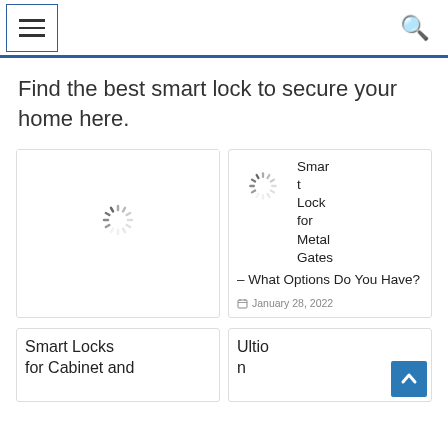[Figure (screenshot): Website header with hamburger menu icon on the left and search icon on the right, separated by a blue horizontal bar]
Find the best smart lock to secure your home here.
[Figure (screenshot): Two article card thumbnails side by side. Left card shows a loading spinner placeholder image. Right card shows a loading spinner with article title 'Smart Lock for Metal Gates – What Options Do You Have?' dated January 28, 2022.]
Smart Locks for Cabinet and
Ultio n